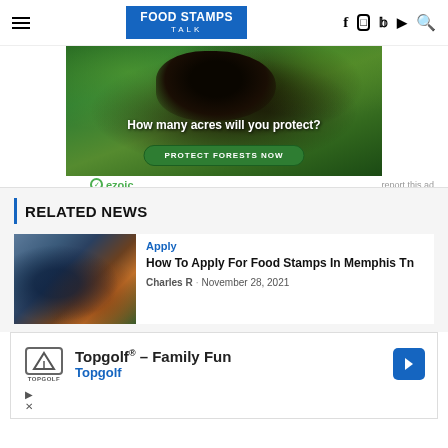Food Stamps Talk — navigation header with logo, hamburger menu, and social icons
[Figure (photo): Advertisement banner showing a dark primate (monkey/bear) in green forest foliage with text 'How many acres will you protect?' and a green button 'PROTECT FORESTS NOW'. Ezoic branding and 'report this ad' link below.]
RELATED NEWS
[Figure (photo): Thumbnail image of a shopping cart with groceries in a store aisle, blurred background]
Apply
How To Apply For Food Stamps In Memphis Tn
Charles R · November 28, 2021
[Figure (other): Google display ad for Topgolf – Family Fun, showing Topgolf logo, name, and a navigation arrow icon, with ad controls (play/close buttons)]